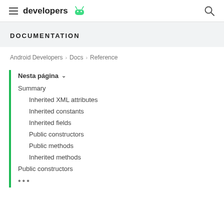developers [android logo]
DOCUMENTATION
Android Developers > Docs > Reference
Nesta página ˅
Summary
Inherited XML attributes
Inherited constants
Inherited fields
Public constructors
Public methods
Inherited methods
Public constructors
•••